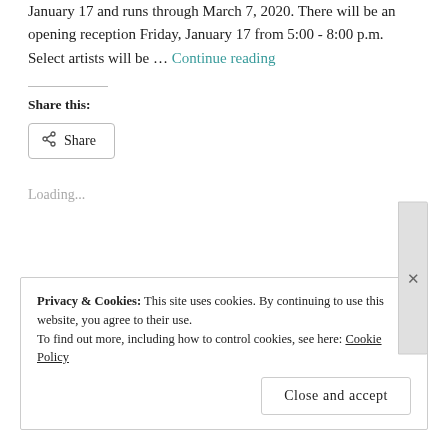January 17 and runs through March 7, 2020. There will be an opening reception Friday, January 17 from 5:00 - 8:00 p.m. Select artists will be … Continue reading
Share this:
Share
Loading...
Privacy & Cookies: This site uses cookies. By continuing to use this website, you agree to their use. To find out more, including how to control cookies, see here: Cookie Policy
Close and accept